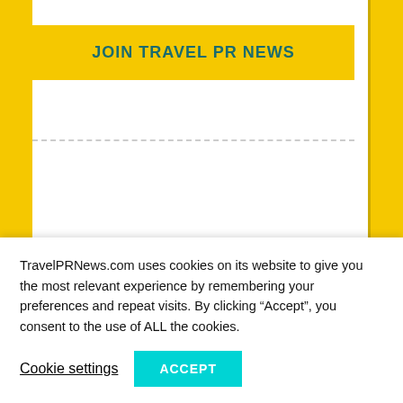JOIN TRAVEL PR NEWS
Travel PRs by Dates
NOVEMBER 2021
M T W T F S S
TravelPRNews.com uses cookies on its website to give you the most relevant experience by remembering your preferences and repeat visits. By clicking “Accept”, you consent to the use of ALL the cookies.
Cookie settings
ACCEPT